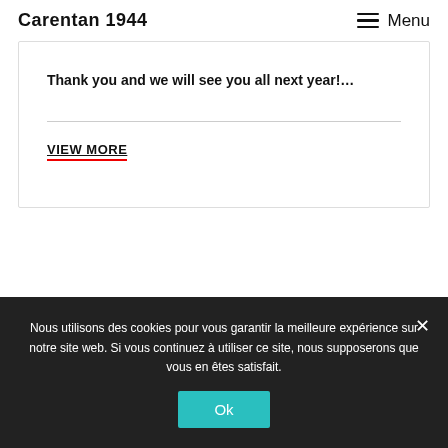Carentan 1944
Thank you and we will see you all next year!…
VIEW MORE
Nous utilisons des cookies pour vous garantir la meilleure expérience sur notre site web. Si vous continuez à utiliser ce site, nous supposerons que vous en êtes satisfait.
Ok